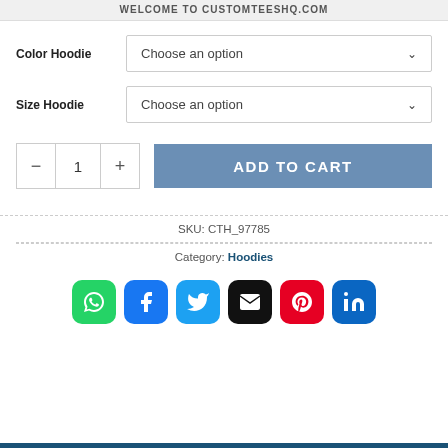WELCOME TO CUSTOMTEESHQ.COM
Color Hoodie — Choose an option
Size Hoodie — Choose an option
Quantity: 1  ADD TO CART
SKU: CTH_97785
Category: Hoodies
[Figure (infographic): Social sharing icons: WhatsApp, Facebook, Twitter, Email, Pinterest, LinkedIn]